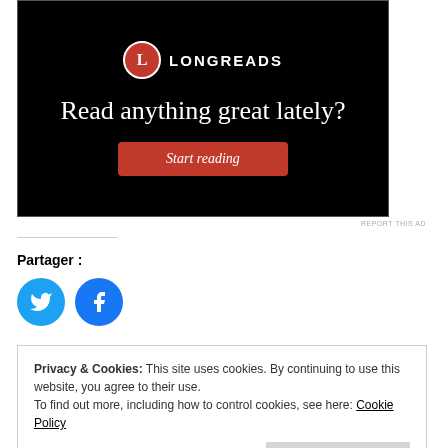[Figure (other): Longreads advertisement banner with black background, red circular logo with 'L', headline 'Read anything great lately?', and a red 'Start reading' button]
REPORT THIS AD
Partager :
[Figure (other): Twitter share button (blue circle with Twitter bird icon)]
[Figure (other): Facebook share button (blue circle with Facebook 'f' icon)]
Privacy & Cookies: This site uses cookies. By continuing to use this website, you agree to their use. To find out more, including how to control cookies, see here: Cookie Policy
Close and accept